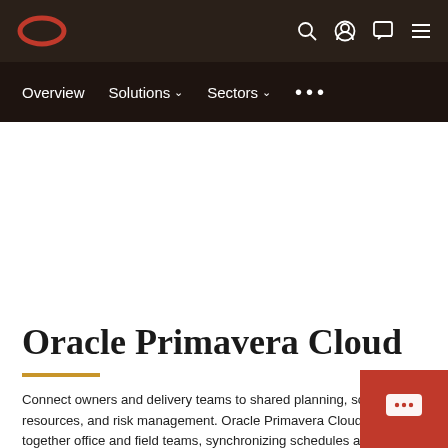Oracle logo | Search | Account | Chat | Menu
Overview | Solutions ▾ | Sectors ▾ | •••
Oracle Primavera Cloud
Connect owners and delivery teams to shared planning, scheduling, resources, and risk management. Oracle Primavera Cloud brings together office and field teams, synchronizing schedules and